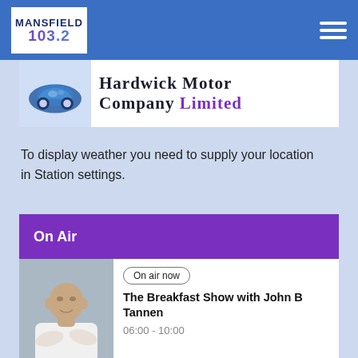Mansfield 103.2
[Figure (logo): Hardwick Motor Company Limited sponsor banner with car logo]
To display weather you need to supply your location in Station settings.
On Air
[Figure (photo): Photo of John B Tannen, presenter of The Breakfast Show]
On air now
The Breakfast Show with John B Tannen
06:00 - 10:00